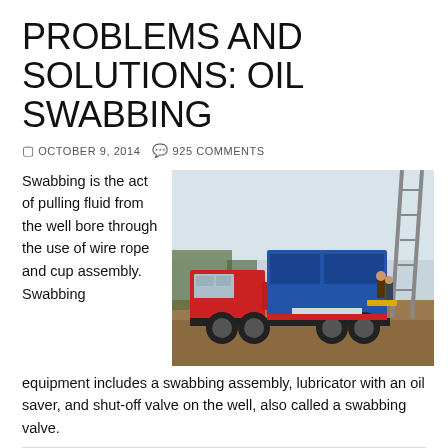PROBLEMS AND SOLUTIONS: OIL SWABBING
OCTOBER 9, 2014   925 COMMENTS
Swabbing is the act of pulling fluid from the well bore through the use of wire rope and cup assembly. Swabbing equipment includes a swabbing assembly, lubricator with an oil saver, and shut-off valve on the well, also called a swabbing valve.
[Figure (photo): A red and blue truck-mounted oil swabbing rig with a derrick mast, parked on a dirt field. Workers are visible near the equipment.]
Common precautions during oil swabbing operations